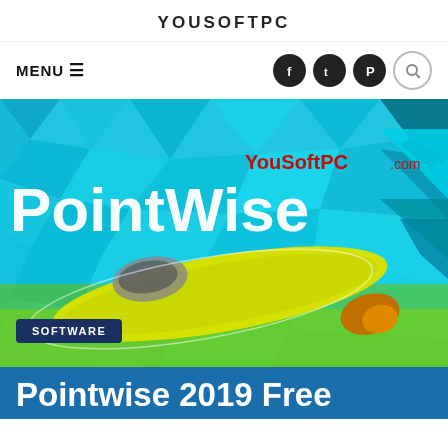YOUSOFTPC
MENU ☰
[Figure (screenshot): Website navigation bar with social icons (Facebook, Twitter, Pinterest) and search button]
[Figure (photo): PointWise software promotional image showing a yellow aircraft/torpedo shape against a blue geometric polygon background with YouSoftPC.com watermark and PointWise text overlay]
SOFTWARE
Pointwise 2019 Free